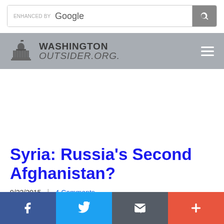[Figure (screenshot): Google search bar with 'ENHANCED BY Google' text and search icon button]
WASHINGTON OUTSIDER.ORG.
Syria: Russia's Second Afghanistan?
9/22/2015 | 4 Comments
[Figure (other): Social sharing bar with Facebook, Twitter, Email, and More buttons]